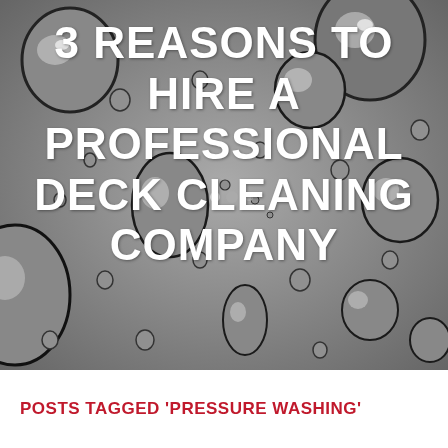[Figure (photo): Close-up black and white photograph of water droplets on a surface, serving as background for the title text]
3 REASONS TO HIRE A PROFESSIONAL DECK CLEANING COMPANY
POSTS TAGGED 'PRESSURE WASHING'